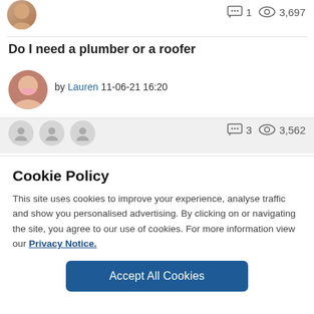[Figure (photo): Small circular avatar of a person at top left, partially cropped]
1   3,697
Do I need a plumber or a roofer
[Figure (photo): Circular avatar of Lauren]
by Lauren 11-06-21 16:20
[Figure (photo): Three small grey placeholder avatars]
3   3,562
Cookie Policy
This site uses cookies to improve your experience, analyse traffic and show you personalised advertising. By clicking on or navigating the site, you agree to our use of cookies. For more information view our Privacy Notice.
Accept All Cookies